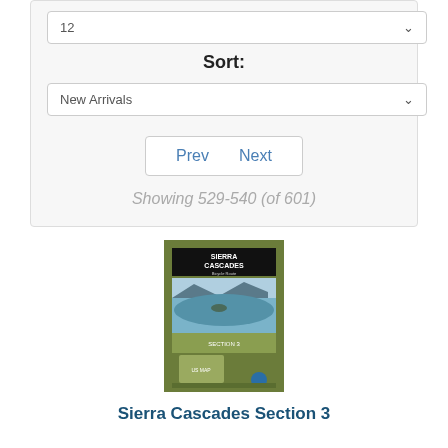12
Sort:
New Arrivals
Prev   Next
Showing 529-540 (of 601)
[Figure (photo): A folded map pamphlet for Sierra Cascades Section 3, showing a green cover with a black header bar reading 'Sierra Cascades Bicycle Route', a landscape photo of a lake (likely Crater Lake), and a small US map inset at the bottom.]
Sierra Cascades Section 3